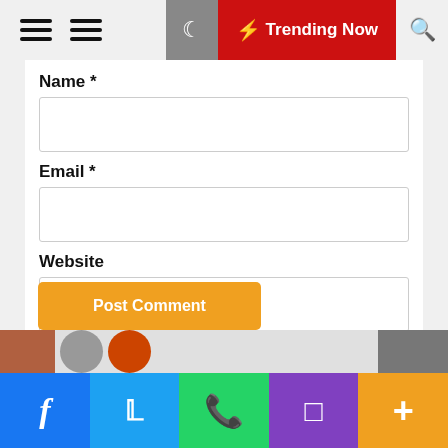≡ ≡  🌙 ⚡ Trending Now 🔍
Name *
Email *
Website
Save my name, email, and website in this browser for the next time I comment.
Post Comment
f  🐦  WhatsApp  Instagram  +